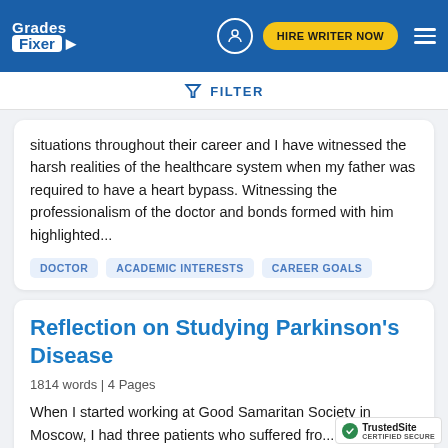Grades Fixer | HIRE WRITER NOW
FILTER
situations throughout their career and I have witnessed the harsh realities of the healthcare system when my father was required to have a heart bypass. Witnessing the professionalism of the doctor and bonds formed with him highlighted...
DOCTOR  ACADEMIC INTERESTS  CAREER GOALS
Reflection on Studying Parkinson's Disease
1814 words | 4 Pages
When I started working at Good Samaritan Society in Moscow, I had three patients who suffered fro... Parkinson's Disease. At the time I didn't know...